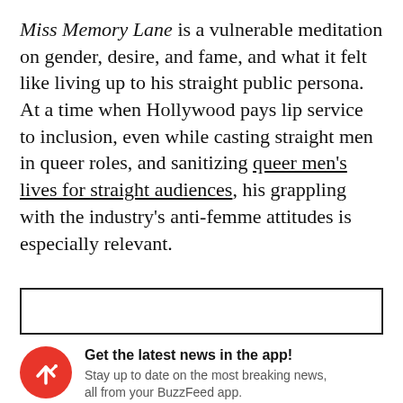Miss Memory Lane is a vulnerable meditation on gender, desire, and fame, and what it felt like living up to his straight public persona. At a time when Hollywood pays lip service to inclusion, even while casting straight men in queer roles, and sanitizing queer men's lives for straight audiences, his grappling with the industry's anti-femme attitudes is especially relevant.
[Figure (other): Empty bordered rectangle (content placeholder / ad block)]
Get the latest news in the app! Stay up to date on the most breaking news, all from your BuzzFeed app.
Maybe later
Get the app